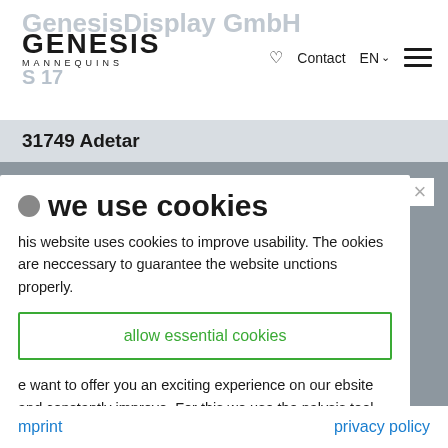GenesisDisplay GmbH
[Figure (screenshot): Genesis Mannequins logo with navigation bar showing heart icon, Contact, EN language selector, and hamburger menu]
31749 Adetar
we use cookies
his website uses cookies to improve usability. The ookies are neccessary to guarantee the website unctions properly.
allow essential cookies
e want to offer you an exciting experience on our ebsite and constantly improve. For this we use the nalysis tool Matomo.
allow all cookies
mprint
privacy policy